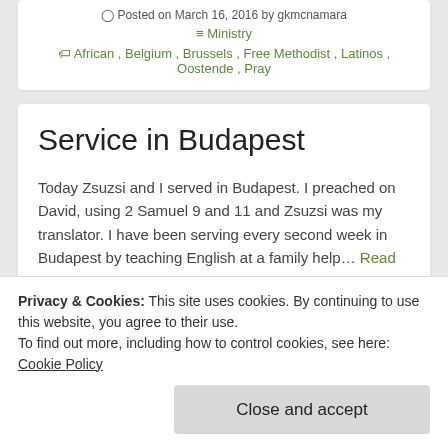Posted on March 16, 2016 by gkmcnamara
≡ Ministry
African , Belgium , Brussels , Free Methodist , Latinos , Oostende , Pray
Service in Budapest
Today Zsuzsi and I served in Budapest. I preached on David, using 2 Samuel 9 and 11 and Zsuzsi was my translator. I have been serving every second week in Budapest by teaching English at a family help… Read More
Privacy & Cookies: This site uses cookies. By continuing to use this website, you agree to their use.
To find out more, including how to control cookies, see here:
Cookie Policy
Close and accept